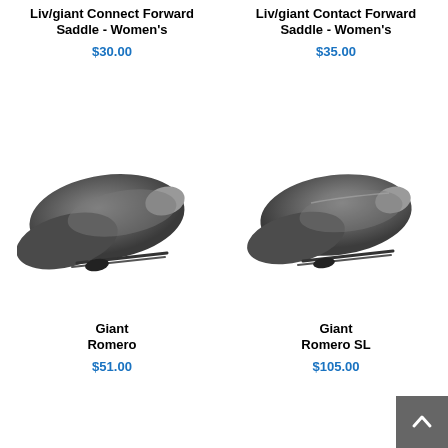Liv/giant Connect Forward Saddle - Women's
$30.00
Liv/giant Contact Forward Saddle - Women's
$35.00
[Figure (photo): Gray bicycle saddle - Giant Romero, angled side view]
[Figure (photo): Gray bicycle saddle - Giant Romero SL, angled side view]
Giant Romero
$51.00
Giant Romero SL
$105.00